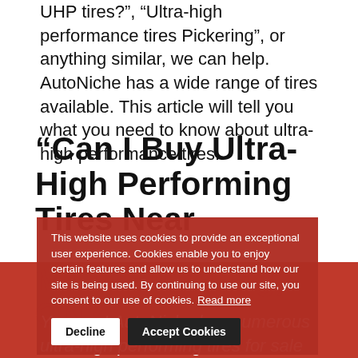UHP tires?”, “Ultra-high performance tires Pickering”, or anything similar, we can help. AutoNiche has a wide range of tires available. This article will tell you what you need to know about ultra-high performance tires.
“Can I Buy Ultra-High Performing Tires Near Me In Pickering, ON?”
You can! AutoNiche has numerous ultra-high performing tires for sale in Pickering, Ontario. But are these tires the right choice for your vehicle and your driving style? The tire experts at AutoNiche can help you decide if – and which kind of – ultra-high performing tires are the right choice for you.
This website uses cookies to provide an exceptional user experience. Cookies enable you to enjoy certain features and allow us to understand how our site is being used. By continuing to use our site, you consent to our use of cookies. Read more
Decline
Accept Cookies